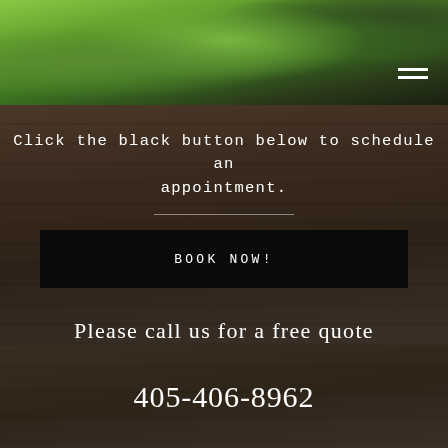[Figure (photo): Partial view of green plants and grass, outdoor garden scene, cropped at top of page]
Click the black button below to schedule an appointment.
[Figure (other): Black button labeled BOOK NOW!]
Please call us for a free quote
405-406-8962